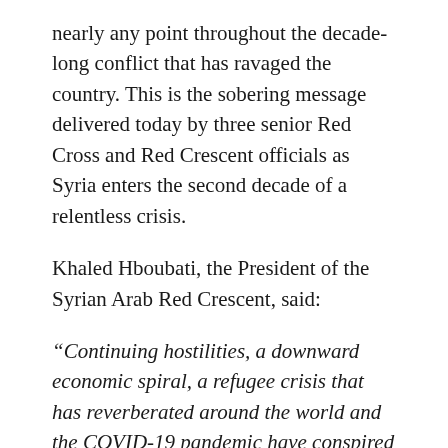nearly any point throughout the decade-long conflict that has ravaged the country. This is the sobering message delivered today by three senior Red Cross and Red Crescent officials as Syria enters the second decade of a relentless crisis.
Khaled Hboubati, the President of the Syrian Arab Red Crescent, said:
“Continuing hostilities, a downward economic spiral, a refugee crisis that has reverberated around the world and the COVID-19 pandemic have conspired to push Syrian people to unacceptable extremes. For a decade now, people in Syria have been living in agony. As we speak, more than 13